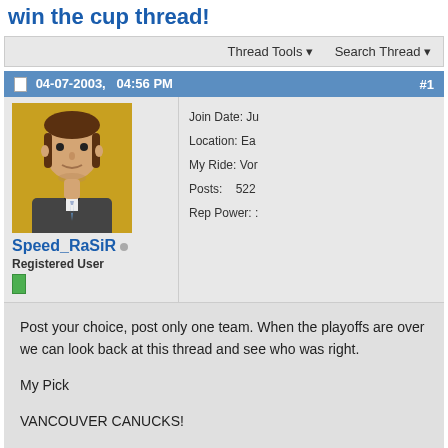win the cup thread!
Thread Tools  Search Thread
04-07-2003,   04:56 PM   #1
[Figure (photo): Avatar of user Speed_RaSiR: 3D animated character in a suit with tie, brown hair, on yellow/orange background]
Join Date: Ju
Location: Ea
My Ride: Vor
Posts: 522
Rep Power: :
Speed_RaSiR
Registered User
Post your choice, post only one team. When the playoffs are over we can look back at this thread and see who was right.

My Pick

VANCOUVER CANUCKS!